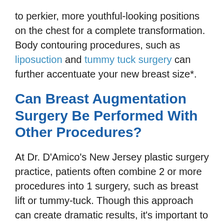to perkier, more youthful-looking positions on the chest for a complete transformation. Body contouring procedures, such as liposuction and tummy tuck surgery  can further accentuate your new breast size*.
Can Breast Augmentation Surgery Be Performed With Other Procedures?
At Dr. D'Amico's New Jersey plastic surgery practice, patients often combine 2 or more procedures into 1 surgery, such as breast lift or tummy-tuck.  Though this approach can create dramatic results, it's important to note that the recovery will likely be longer and